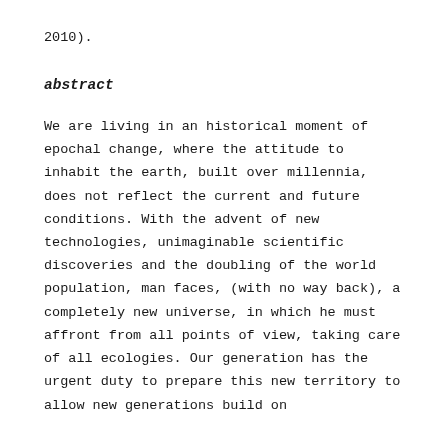2010).
abstract
We are living in an historical moment of epochal change, where the attitude to inhabit the earth, built over millennia, does not reflect the current and future conditions. With the advent of new technologies, unimaginable scientific discoveries and the doubling of the world population, man faces, (with no way back), a completely new universe, in which he must affront from all points of view, taking care of all ecologies. Our generation has the urgent duty to prepare this new territory to allow new generations build on